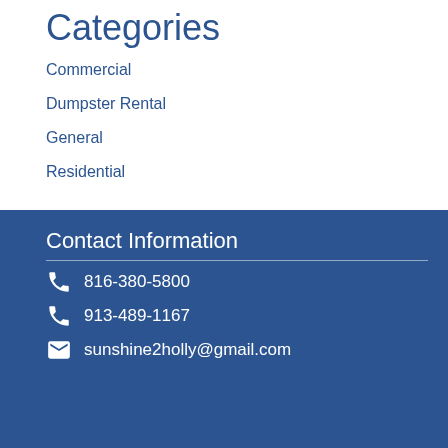Categories
Commercial
Dumpster Rental
General
Residential
Contact Information
816-380-5800
913-489-1167
sunshine2holly@gmail.com